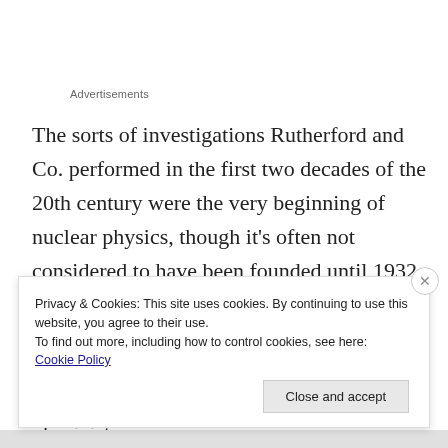Advertisements
The sorts of investigations Rutherford and Co. performed in the first two decades of the 20th century were the very beginning of nuclear physics, though it’s often not considered to have been founded until 1932.
Why 1932? That’s the subject of today’s story.
There’s a modern trope among nuclear physicists
Privacy & Cookies: This site uses cookies. By continuing to use this website, you agree to their use.
To find out more, including how to control cookies, see here: Cookie Policy
Close and accept